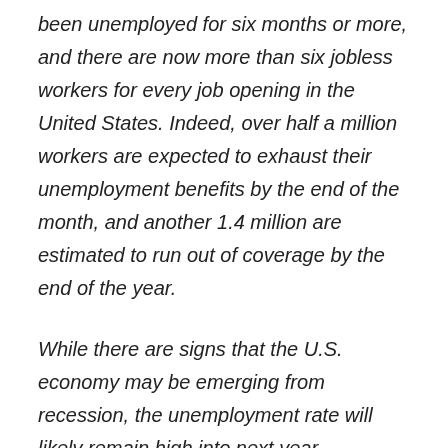been unemployed for six months or more, and there are now more than six jobless workers for every job opening in the United States. Indeed, over half a million workers are expected to exhaust their unemployment benefits by the end of the month, and another 1.4 million are estimated to run out of coverage by the end of the year.
While there are signs that the U.S. economy may be emerging from recession, the unemployment rate will likely remain high into next year. Chairman Bernanke recently